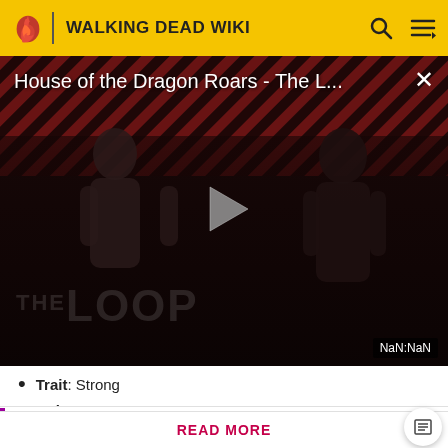WALKING DEAD WIKI
[Figure (screenshot): Video player thumbnail showing 'House of the Dragon Roars - The L...' with a play button, dark background with diagonal stripes, figures in silhouette, THE LOOP watermark, and NaN:NaN timestamp]
Trait: Strong
Role: Damage
Attention! Please be aware that spoilers are not allowed on the wiki and a violation of this policy may result in a ban.
READ MORE